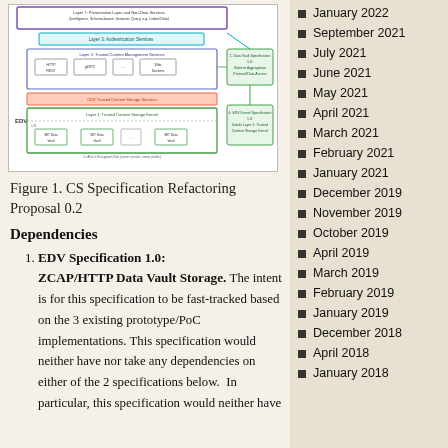[Figure (schematic): CS Specification Refactoring Proposal 0.2 architecture diagram showing EDV layers including Authentication Services, Trusted Content Management Services (HTTP/REST, gRPC, Web Sockets), CDV Trusted Content Storage Services, and Trusted Content Storage Kernel with IMT Data Vault nodes. Data Vault Specification 1.0 and EDV Kernel Specification 1.0 boxes shown on right side.]
Figure 1. CS Specification Refactoring Proposal 0.2
Dependencies
EDV Specification 1.0: ZCAP/HTTP Data Vault Storage. The intent is for this specification to be fast-tracked based on the 3 existing prototype/PoC implementations. This specification would neither have nor take any dependencies on either of the 2 specifications below.  In particular, this specification would neither have
January 2022
September 2021
July 2021
June 2021
May 2021
April 2021
March 2021
February 2021
January 2021
December 2019
November 2019
October 2019
April 2019
March 2019
February 2019
January 2019
December 2018
April 2018
January 2018